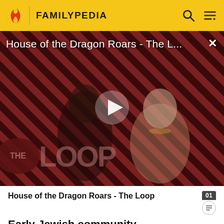FAMILYPEDIA
[Figure (screenshot): Video thumbnail for 'House of the Dragon Roars - The L...' showing two characters from the show against a red diagonal striped background, with a play button in the center and THE LOOP logo at the bottom left. An X close button is at the top right.]
House of the Dragon Roars - The Loop
Early Jewish community
The Jewish community of Mainz dates to the 10th century AD. It is noted for its religious education. Rabbi Gershom